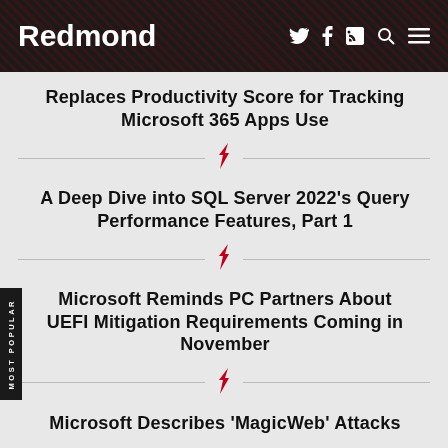Redmond
Replaces Productivity Score for Tracking Microsoft 365 Apps Use
A Deep Dive into SQL Server 2022's Query Performance Features, Part 1
Microsoft Reminds PC Partners About UEFI Mitigation Requirements Coming in November
Microsoft Describes 'MagicWeb' Attacks